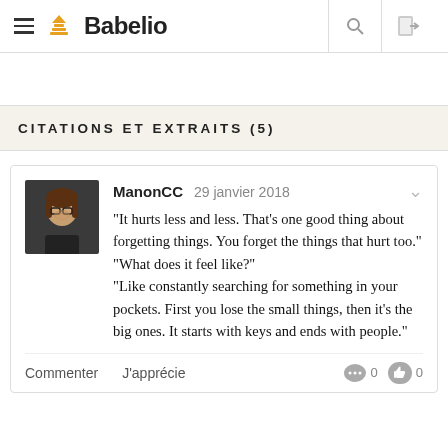Babelio
CITATIONS ET EXTRAITS (5)
ManonCC  29 janvier 2018
"It hurts less and less. That's one good thing about forgetting things. You forget the things that hurt too."
"What does it feel like?"
"Like constantly searching for something in your pockets. First you lose the small things, then it's the big ones. It starts with keys and ends with people."
Commenter   J'apprécie   0   0